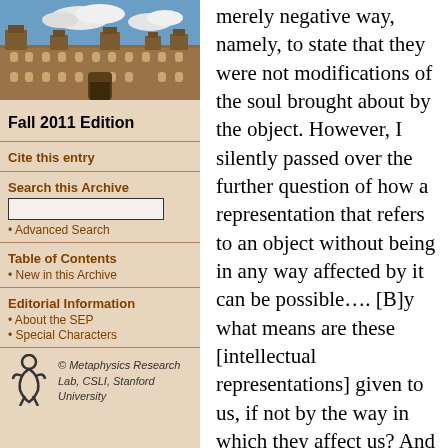[Figure (photo): Photograph of a historic stone university building with towers and arched windows against a blue sky with white clouds]
Fall 2011 Edition
Cite this entry
Search this Archive
Advanced Search
Table of Contents
New in this Archive
Editorial Information
About the SEP
Special Characters
[Figure (logo): Metaphysics Research Lab logo - stylized figure]
© Metaphysics Research Lab, CSLI, Stanford University
merely negative way, namely, to state that they were not modifications of the soul brought about by the object. However, I silently passed over the further question of how a representation that refers to an object without being in any way affected by it can be possible…. [B]y what means are these [intellectual representations] given to us, if not by the way in which they affect us? And if such intellectual representations depend on our inner activity, whence comes the agreement that